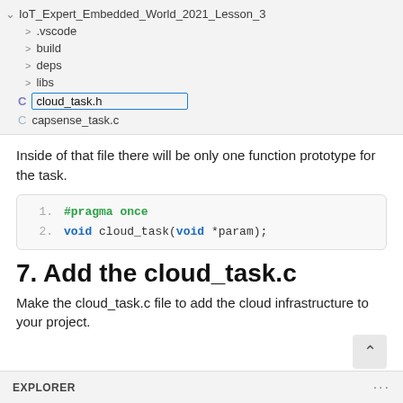[Figure (screenshot): VS Code Explorer panel showing IoT_Expert_Embedded_World_2021_Lesson_3 folder with .vscode, build, deps, libs collapsed, cloud_task.h selected (highlighted with blue border), and capsense_task.c below]
Inside of that file there will be only one function prototype for the task.
[Figure (screenshot): Code block with line numbers: 1. #pragma once  2. void cloud_task(void *param);]
7. Add the cloud_task.c
Make the cloud_task.c file to add the cloud infrastructure to your project.
[Figure (screenshot): Bottom of VS Code Explorer panel showing EXPLORER label and ... menu dots, with scroll-to-top arrow button]